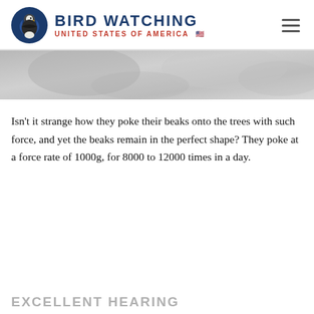BIRD WATCHING UNITED STATES OF AMERICA
[Figure (photo): Hero/banner image area showing blurred bird or nature photograph in grayscale/muted tones]
Isn't it strange how they poke their beaks onto the trees with such force, and yet the beaks remain in the perfect shape? They poke at a force rate of 1000g, for 8000 to 12000 times in a day.
EXCELLENT HEARING